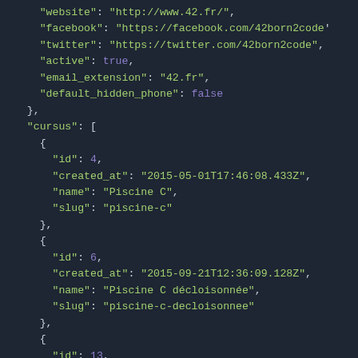[Figure (screenshot): A dark-themed code editor screenshot showing JSON data with syntax highlighting. Keys and string values are in yellow-green, boolean values and numbers are in purple, punctuation in light gray, on a dark navy background.]